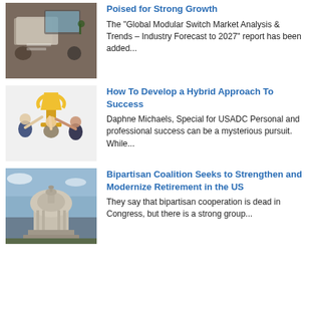[Figure (photo): Photo of a desk with documents, laptop, coffee cup and plant from above]
Poised for Strong Growth
The "Global Modular Switch Market Analysis & Trends – Industry Forecast to 2027" report has been added...
[Figure (photo): Photo of three people celebrating holding a golden trophy cup]
How To Develop a Hybrid Approach To Success
Daphne Michaels, Special for USADC Personal and professional success can be a mysterious pursuit. While...
[Figure (photo): Photo of US Capitol building from a low angle against a blue sky]
Bipartisan Coalition Seeks to Strengthen and Modernize Retirement in the US
They say that bipartisan cooperation is dead in Congress, but there is a strong group...